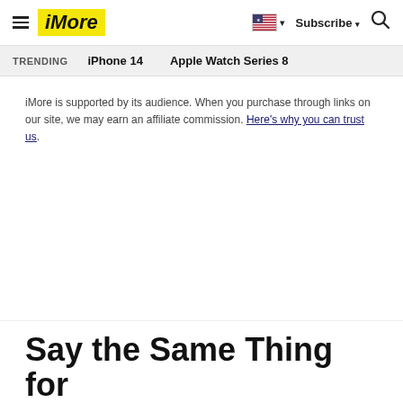iMore — Subscribe — Search
TRENDING — iPhone 14 — Apple Watch Series 8
iMore is supported by its audience. When you purchase through links on our site, we may earn an affiliate commission. Here's why you can trust us.
Say the Same Thing for